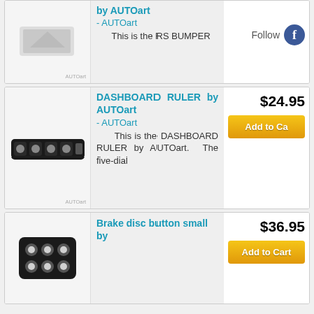[Figure (photo): Partial product card at top: AUTOart product image (partial), with Follow and Facebook icon button on right side. Text shows '- AUTOart', 'This is the RS BUMPER']
[Figure (photo): AUTOart Dashboard Ruler product image - a black elongated ruler-like device]
DASHBOARD RULER by AUTOart - AUTOart This is the DASHBOARD RULER by AUTOart. The five-dial
$24.95
Add to Ca
[Figure (photo): AUTOart Brake disc button small product - a black rectangular device with round silver buttons/knobs]
Brake disc button small by
$36.95
Add to Cart